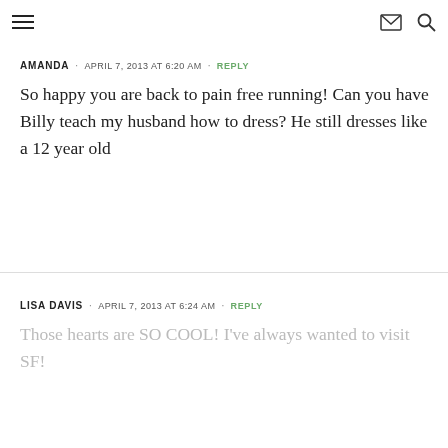≡  ✉ 🔍
AMANDA  •  APRIL 7, 2013 AT 6:20 AM  •  REPLY
So happy you are back to pain free running! Can you have Billy teach my husband how to dress? He still dresses like a 12 year old
LISA DAVIS  •  APRIL 7, 2013 AT 6:24 AM  •  REPLY
Those hearts are SO COOL! I've always wanted to visit SF!